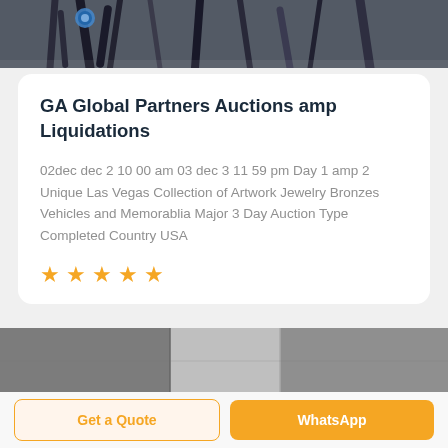[Figure (photo): Top portion of a photo showing cables and wiring on a wall or panel]
GA Global Partners Auctions amp Liquidations
02dec dec 2 10 00 am 03 dec 3 11 59 pm Day 1 amp 2 Unique Las Vegas Collection of Artwork Jewelry Bronzes Vehicles and Memorablia Major 3 Day Auction Type Completed Country USA
[Figure (other): Five orange star rating icons]
[Figure (photo): Bottom portion of a photo showing industrial metal ducts or panels in grayscale]
Get a Quote
WhatsApp